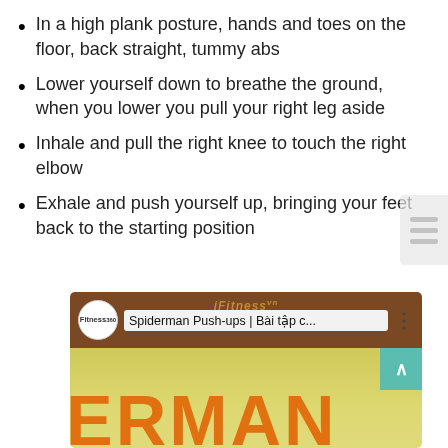In a high plank posture, hands and toes on the floor, back straight, tummy abs
Lower yourself down to breathe the ground, when you lower you pull your right leg aside
Inhale and pull the right knee to touch the right elbow
Exhale and push yourself up, bringing your feet back to the starting position
[Figure (screenshot): YouTube video thumbnail/player showing 'Spiderman Push-ups | Bài tập c...' from Fitness channel, with large orange ERMAN text on yellow-green background]